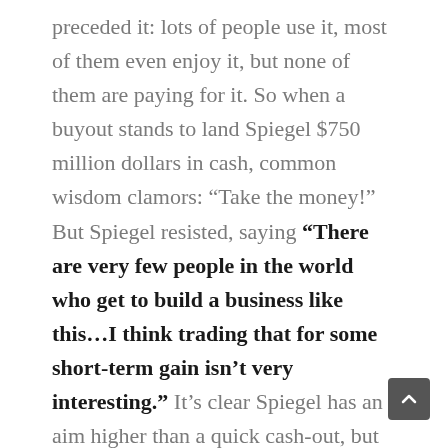preceded it: lots of people use it, most of them even enjoy it, but none of them are paying for it. So when a buyout stands to land Spiegel $750 million dollars in cash, common wisdom clamors: “Take the money!” But Spiegel resisted, saying “There are very few people in the world who get to build a business like this…I think trading that for some short-term gain isn’t very interesting.” It’s clear Spiegel has an aim higher than a quick cash-out, but unlike some, I doubt it’s one motivated entirely by pride.